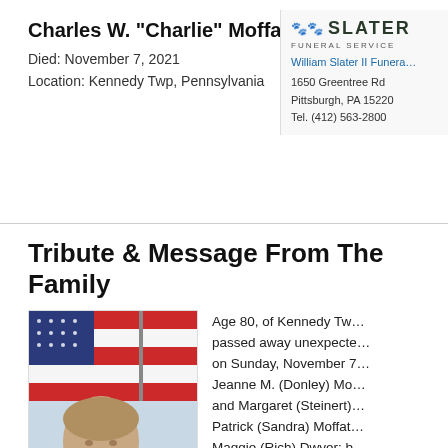Charles W. "Charlie" Moffatt
Died: November 7, 2021
Location: Kennedy Twp, Pennsylvania
[Figure (logo): Slater Funeral Service logo with paw prints and text 'SLATER FUNERAL SERVICE']
William Slater II Funeral
1650 Greentree Rd
Pittsburgh, PA 15220
Tel. (412) 563-2800
Tribute & Message From The Family
[Figure (photo): Photo of Charles W. Moffatt standing in front of an American flag]
Age 80, of Kennedy Twp, passed away unexpectedly on Sunday, November 7, Jeanne M. (Donley) Mo... and Margaret (Steinert) Patrick (Sandra) Moffat... Maggie (Rich) Dwyer; b... (Janet) Moffatt, late Pat... Pappy of Declan, Siobh... and Ella Simunovic C...